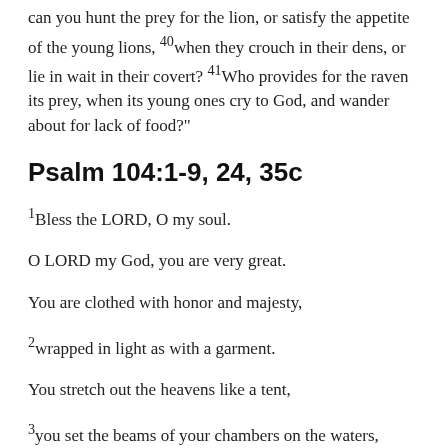can you hunt the prey for the lion, or satisfy the appetite of the young lions, 40when they crouch in their dens, or lie in wait in their covert? 41Who provides for the raven its prey, when its young ones cry to God, and wander about for lack of food?"
Psalm 104:1-9, 24, 35c
1Bless the LORD, O my soul.
O LORD my God, you are very great.
You are clothed with honor and majesty,
2wrapped in light as with a garment.
You stretch out the heavens like a tent,
3you set the beams of your chambers on the waters,
you make the clouds your chariot,